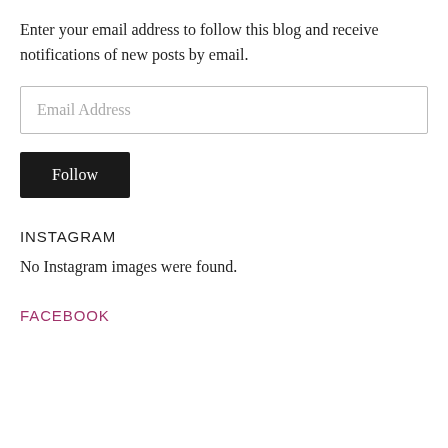Enter your email address to follow this blog and receive notifications of new posts by email.
[Figure (other): Email address input field with placeholder text 'Email Address']
[Figure (other): Dark button with white text reading 'Follow']
INSTAGRAM
No Instagram images were found.
FACEBOOK